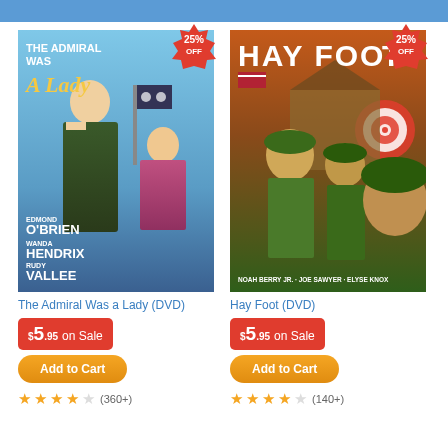[Figure (photo): DVD cover for 'The Admiral Was a Lady' featuring Edmond O'Brien, Wanda Hendrix, Rudy Vallee, with a 25% OFF badge]
[Figure (photo): DVD cover for 'Hay Foot' featuring Noah Berry Jr., Joe Sawyer, Elyse Knox, with a 25% OFF badge]
The Admiral Was a Lady (DVD)
Hay Foot (DVD)
$5.95 on Sale
$5.95 on Sale
Add to Cart
Add to Cart
(360+)
(140+)